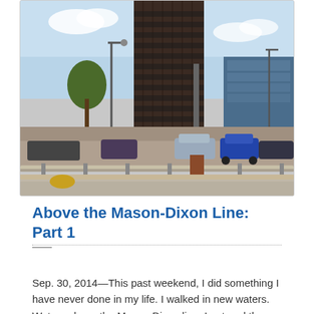[Figure (photo): Outdoor urban scene showing a large dark brick tower building in the background, a parking lot with several cars, guardrails in the foreground, bare sandy ground, and a stadium visible in the background right. Blue sky with some clouds.]
Above the Mason-Dixon Line: Part 1
Sep. 30, 2014—This past weekend, I did something I have never done in my life. I walked in new waters. Waters above the Mason-Dixon line. I entered the North; an eye